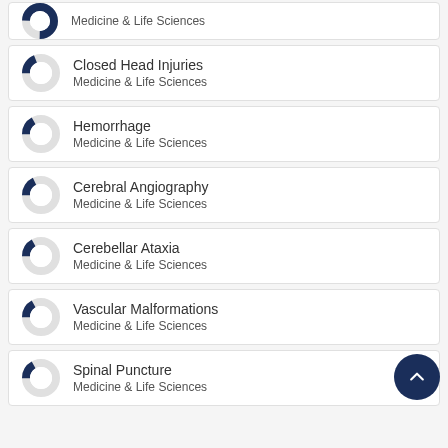Medicine & Life Sciences (donut chart, partial top)
Closed Head Injuries
Medicine & Life Sciences
Hemorrhage
Medicine & Life Sciences
Cerebral Angiography
Medicine & Life Sciences
Cerebellar Ataxia
Medicine & Life Sciences
Vascular Malformations
Medicine & Life Sciences
Spinal Puncture
Medicine & Life Sciences